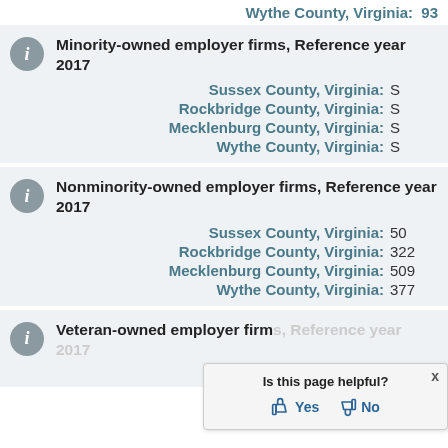Wythe County, Virginia: 93
Minority-owned employer firms, Reference year 2017
Sussex County, Virginia: S
Rockbridge County, Virginia: S
Mecklenburg County, Virginia: S
Wythe County, Virginia: S
Nonminority-owned employer firms, Reference year 2017
Sussex County, Virginia: 50
Rockbridge County, Virginia: 322
Mecklenburg County, Virginia: 509
Wythe County, Virginia: 377
Veteran-owned employer firms, Reference year 2017
Sussex County, Virginia:
[Figure (other): Is this page helpful? Yes / No tooltip overlay]